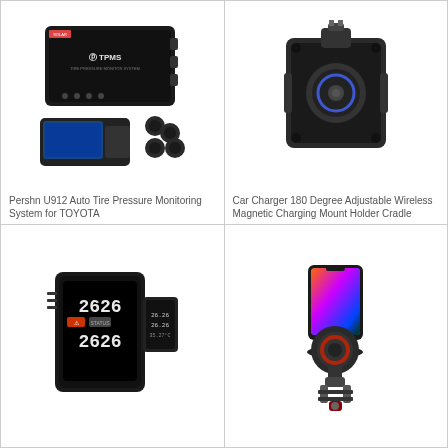[Figure (photo): Pershn U912 Auto Tire Pressure Monitoring System for TOYOTA - shows black TPMS box and sensors]
Pershn U912 Auto Tire Pressure Monitoring System for TOYOTA
[Figure (photo): Car Charger 180 Degree Adjustable Wireless Magnetic Charging Mount Holder Cradle - black circular charging socket]
Car Charger 180 Degree Adjustable Wireless Magnetic Charging Mount Holder Cradle
[Figure (photo): Small TPMS display device showing tire pressure readings 2626]
[Figure (photo): Portable Car Air Purifier - wireless magnetic charging mount with phone mounted on it]